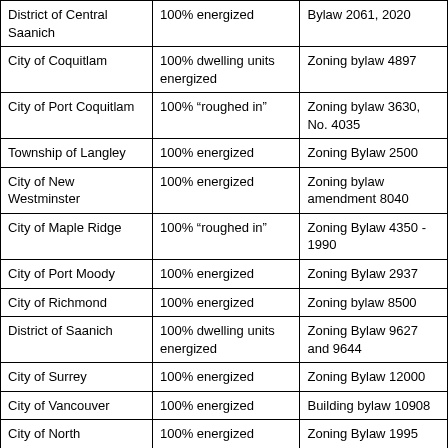| District of Central Saanich | 100% energized | Bylaw 2061, 2020 |
| City of Coquitlam | 100% dwelling units energized | Zoning bylaw 4897 |
| City of Port Coquitlam | 100% "roughed in" | Zoning bylaw 3630, No. 4035 |
| Township of Langley | 100% energized | Zoning Bylaw 2500 |
| City of New Westminster | 100% energized | Zoning bylaw amendment 8040 |
| City of Maple Ridge | 100% "roughed in" | Zoning Bylaw 4350 - 1990 |
| City of Port Moody | 100% energized | Zoning Bylaw 2937 |
| City of Richmond | 100% energized | Zoning bylaw 8500 |
| District of Saanich | 100% dwelling units energized | Zoning Bylaw 9627 and 9644 |
| City of Surrey | 100% energized | Zoning Bylaw 12000 |
| City of Vancouver | 100% energized | Building bylaw 10908 |
| City of North | 100% energized | Zoning Bylaw 1995 |